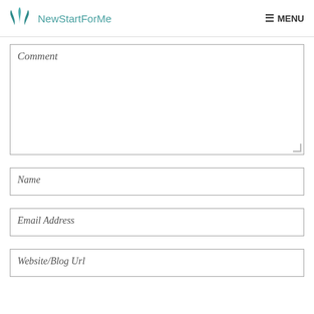NewStartForMe  MENU
Comment
Name
Email Address
Website/Blog Url